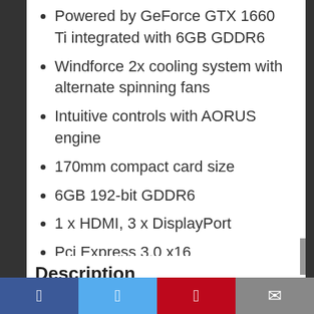Powered by GeForce GTX 1660 Ti integrated with 6GB GDDR6
Windforce 2x cooling system with alternate spinning fans
Intuitive controls with AORUS engine
170mm compact card size
6GB 192-bit GDDR6
1 x HDMI, 3 x DisplayPort
Pci Express 3.0 x16
Description
Facebook | Twitter | Pinterest | Email